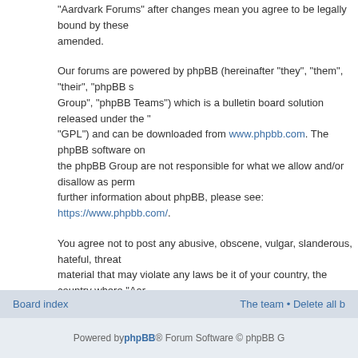“Aardvark Forums” after changes mean you agree to be legally bound by these as amended.
Our forums are powered by phpBB (hereinafter “they”, “them”, “their”, “phpBB Group”, “phpBB Teams”) which is a bulletin board solution released under the “GPL”) and can be downloaded from www.phpbb.com. The phpBB software on the phpBB Group are not responsible for what we allow and/or disallow as perm further information about phpBB, please see: https://www.phpbb.com/.
You agree not to post any abusive, obscene, vulgar, slanderous, hateful, threat material that may violate any laws be it of your country, the country where “Aar Law. Doing so may lead to you being immediately and permanently banned, wi Provider if deemed required by us. The IP address of all posts are recorded to a agree that “Aardvark Forums” have the right to remove, edit, move or close any a user you agree to any information you have entered to being stored in a data disclosed to any third party without your consent, neither “Aardvark Forums” no any hacking attempt that may lead to the data being compromised.
Back to login screen
Board index  •  The team  •  Delete all b
Powered by phpBB® Forum Software © phpBB G